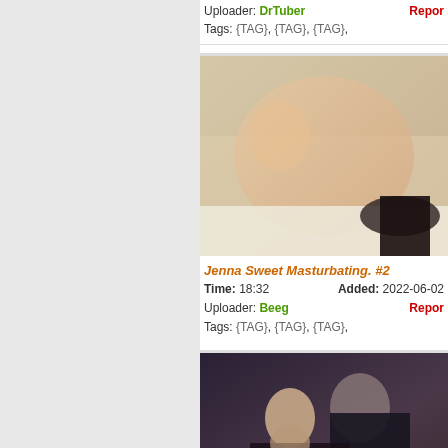Uploader: DrTuber  Tags: {TAG}, {TAG}, {TAG},
[Figure (photo): Thumbnail of Jenna Sweet Masturbating #2 video]
Jenna Sweet Masturbating. #2
Time: 18:32  Added: 2022-06-02  Uploader: Beeg  Report  Tags: {TAG}, {TAG}, {TAG},
[Figure (photo): Thumbnail of a couple kissing video]